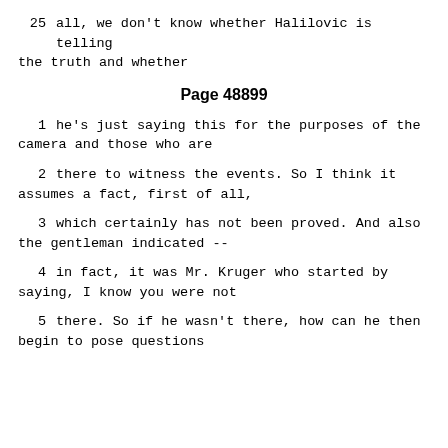25    all, we don't know whether Halilovic is telling the truth and whether
Page 48899
1      he's just saying this for the purposes of the camera and those who are
2      there to witness the events.  So I think it assumes a fact, first of all,
3      which certainly has not been proved.  And also the gentleman indicated --
4      in fact, it was Mr. Kruger who started by saying, I know you were not
5      there.  So if he wasn't there, how can he then begin to pose questions